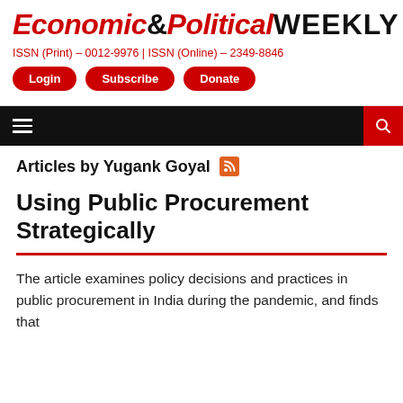Economic & Political WEEKLY
ISSN (Print) - 0012-9976 | ISSN (Online) - 2349-8846
Login
Subscribe
Donate
Articles by Yugank Goyal
Using Public Procurement Strategically
The article examines policy decisions and practices in public procurement in India during the pandemic, and finds that